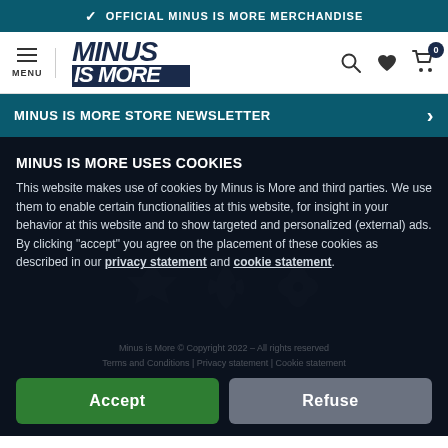✓ OFFICIAL MINUS IS MORE MERCHANDISE
[Figure (logo): Minus is More logo with hamburger menu, search, heart, and cart icons]
MINUS IS MORE STORE NEWSLETTER >
MINUS IS MORE USES COOKIES
This website makes use of cookies by Minus is More and third parties. We use them to enable certain functionalities at this website, for insight in your behavior at this website and to show targeted and personalized (external) ads. By clicking "accept" you agree on the placement of these cookies as described in our privacy statement and cookie statement.
Minus is More © Copyright 2022 – All rights reserved Terms and Conditions | Privacy statement | Cookie statement